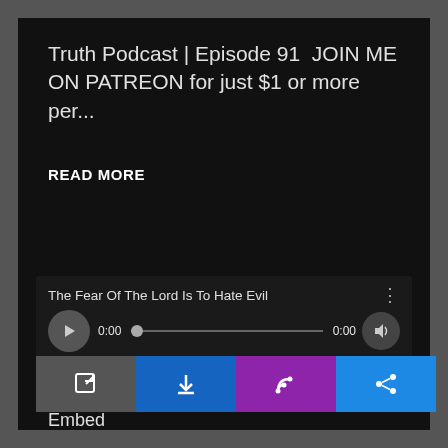Truth Podcast | Episode 91  JOIN ME ON PATREON for just $1 or more per...
READ MORE
[Figure (screenshot): Podcast audio player widget showing 'The Fear Of The Lord Is To Hate Evil' with play button, scrubber at 0:00, and volume control]
Embed